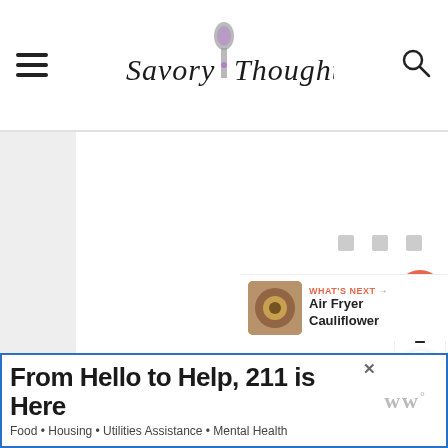Savory Thoughts
[Figure (other): Loading content placeholder area with three small gray squares indicating content loading]
[Figure (other): Heart/favorite button (orange circle with heart icon) showing count 2, and a share button below]
[Figure (other): What's Next panel with thumbnail of Air Fryer Cauliflower]
WHAT'S NEXT → Air Fryer Cauliflower
[Figure (other): Advertisement banner: From Hello to Help, 211 is Here. Food • Housing • Utilities Assistance • Mental Health]